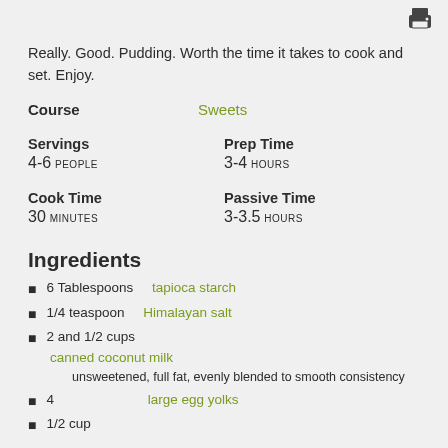[Figure (other): Printer icon in top right corner]
Really. Good. Pudding. Worth the time it takes to cook and set. Enjoy.
Course   Sweets
Servings   4-6 PEOPLE
Prep Time   3-4 HOURS
Cook Time   30 MINUTES
Passive Time   3-3.5 HOURS
Ingredients
6 Tablespoons   tapioca starch
1/4 teaspoon   Himalayan salt
2 and 1/2 cups   canned coconut milk   unsweetened, full fat, evenly blended to smooth consistency
4   large egg yolks
1/2 cup